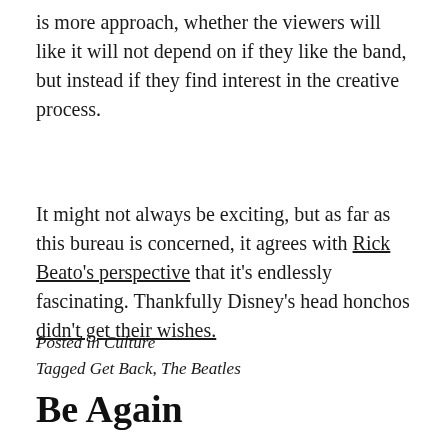is more approach, whether the viewers will like it will not depend on if they like the band, but instead if they find interest in the creative process.
It might not always be exciting, but as far as this bureau is concerned, it agrees with Rick Beato’s perspective that it’s endlessly fascinating. Thankfully Disney’s head honchos didn’t get their wishes.
Posted in Culture
Tagged Get Back, The Beatles
Be Again